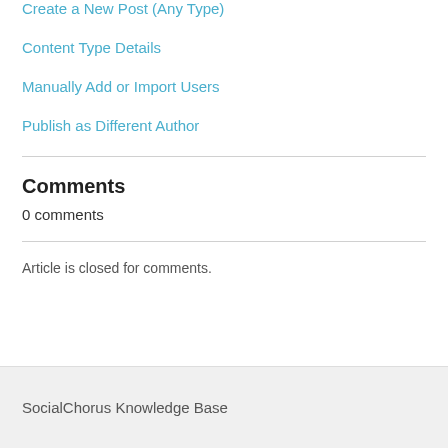Create a New Post (Any Type)
Content Type Details
Manually Add or Import Users
Publish as Different Author
Comments
0 comments
Article is closed for comments.
SocialChorus Knowledge Base